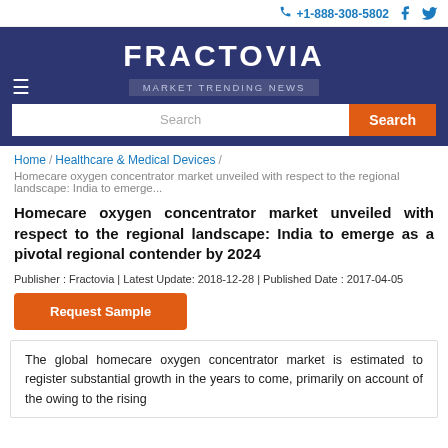+1-888-308-5802
FRACTOVIA
MARKET TRENDING NEWS
Search
Home / Healthcare & Medical Devices / Homecare oxygen concentrator market unveiled with respect to the regional landscape: India to emerge...
Homecare oxygen concentrator market unveiled with respect to the regional landscape: India to emerge as a pivotal regional contender by 2024
Publisher : Fractovia | Latest Update: 2018-12-28 | Published Date : 2017-04-05
Request Sample
The global homecare oxygen concentrator market is estimated to register substantial growth in the years to come, primarily on account of the owing to the rising